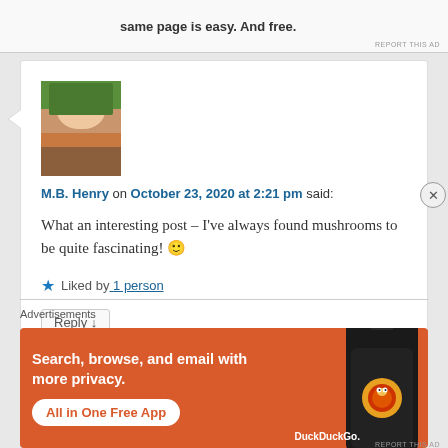same page is easy. And free.
REPORT THIS AD
M.B. Henry on October 23, 2020 at 2:21 pm said:
[Figure (photo): Profile photo of M.B. Henry - a woman in a striped top outdoors]
What an interesting post – I've always found mushrooms to be quite fascinating! 🙂
★ Liked by 1 person
Reply ↓
Advertisements
[Figure (infographic): DuckDuckGo advertisement: Search, browse, and email with more privacy. All in One Free App. Shows DuckDuckGo logo on a phone.]